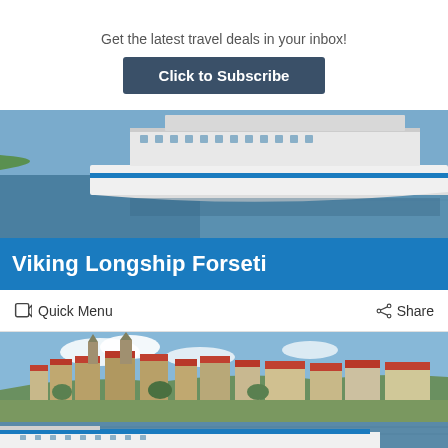Get the latest travel deals in your inbox!
Click to Subscribe
[Figure (photo): A large white Viking river cruise ship sailing on a calm river, viewed from a side angle]
Viking Longship Forseti
Quick Menu
Share
[Figure (photo): A European city (Passau) along a river with a Viking river cruise ship docked in the foreground, showing a townscape with churches and red-roofed buildings against a blue sky]